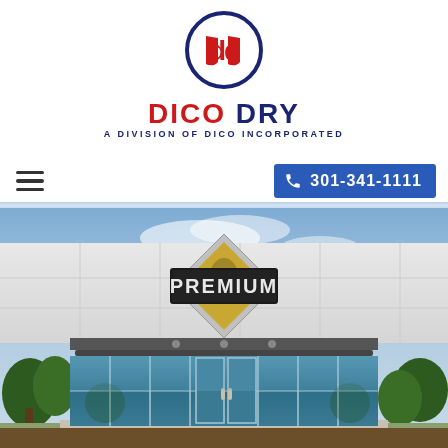[Figure (logo): Dico Dry logo: circular emblem with stylized 'dd' letters in red, outlined in dark navy blue]
DICO DRY
A DIVISION OF DICO INCORPORATED
[Figure (other): Navigation bar with hamburger menu icon on left and blue phone button with number 301-341-1111 on right]
[Figure (photo): Exterior photo of a commercial building with large glass entrance doors, canopy overhang, and a diamond-shaped 'PREMIUM' logo sign mounted on the white facade above the entrance. Trees and cloudy sky visible in background.]